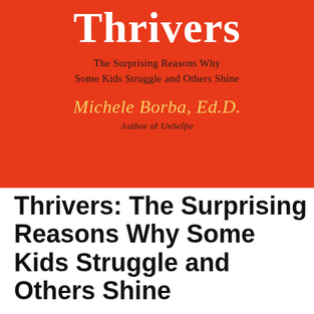[Figure (illustration): Book cover for 'Thrivers' by Michele Borba, Ed.D. Red/orange background with white serif title 'Thrivers', black subtitle 'The Surprising Reasons Why Some Kids Struggle and Others Shine', golden italic author name 'Michele Borba, Ed.D.', and black text 'Author of UnSelfie']
Thrivers: The Surprising Reasons Why Some Kids Struggle and Others Shine